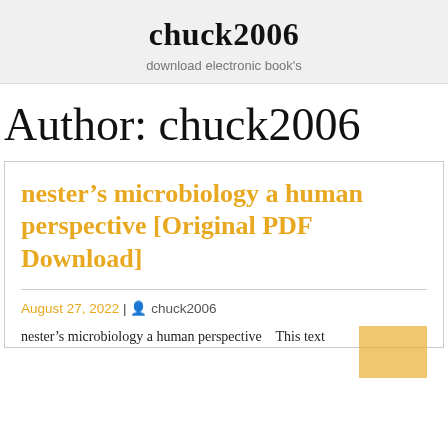chuck2006
download electronic book's
Author: chuck2006
nester’s microbiology a human perspective [Original PDF Download]
August 27, 2022 | chuck2006
nester’s microbiology a human perspective   This text